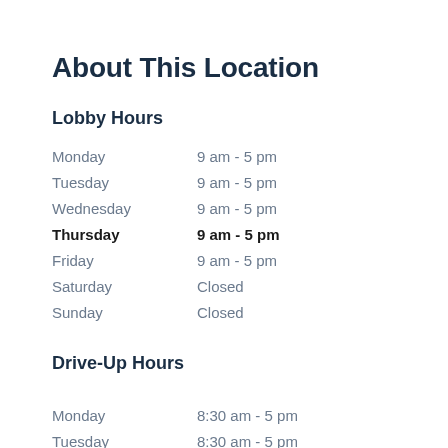About This Location
Lobby Hours
| Monday | 9 am - 5 pm |
| Tuesday | 9 am - 5 pm |
| Wednesday | 9 am - 5 pm |
| Thursday | 9 am - 5 pm |
| Friday | 9 am - 5 pm |
| Saturday | Closed |
| Sunday | Closed |
Drive-Up Hours
| Monday | 8:30 am - 5 pm |
| Tuesday | 8:30 am - 5 pm |